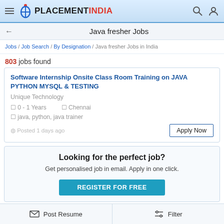PLACEMENTINDIA — navigation bar with logo, hamburger menu, search icon, user icon
Java fresher Jobs
Jobs / Job Search / By Designation / Java fresher Jobs in India
803 jobs found
Software Internship Onsite Class Room Training on JAVA PYTHON MYSQL & TESTING
Unique Technology
0 - 1 Years | Chennai
java, python, java trainer
Posted 1 days ago
Looking for the perfect job?
Get personalised job in email. Apply in one click.
REGISTER FOR FREE
Post Resume  |  Filter